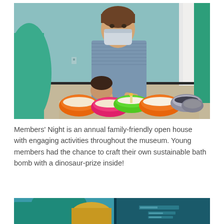[Figure (photo): A man wearing a face mask and a striped polo shirt leans over a table helping a young child with an activity. On the table are colorful bowls (orange, pink, green) filled with white mixture and a candle-like object. Metal mixing bowls are also on the table. The room has teal/blue walls and a white column in the background. People in teal/green clothing are visible on the sides.]
Members' Night is an annual family-friendly open house with engaging activities throughout the museum. Young members had the chance to craft their own sustainable bath bomb with a dinosaur-prize inside!
[Figure (photo): Partial view of two people leaning over something, one wearing a teal shirt and another with blonde hair. Background shows a dark teal wall with some signage.]